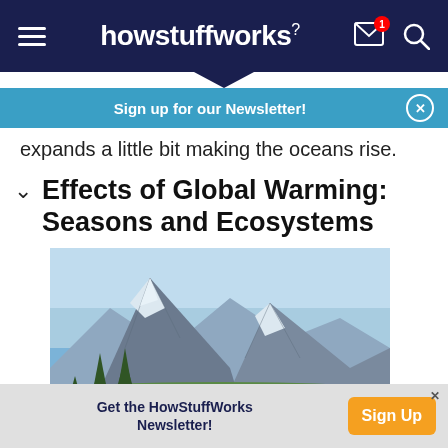howstuffworks
Sign up for our Newsletter!
expands a little bit making the oceans rise.
Effects of Global Warming: Seasons and Ecosystems
[Figure (photo): Mountain landscape with snow patches, rocky peak, green conifer trees in foreground, blue sky background]
Get the HowStuffWorks Newsletter!